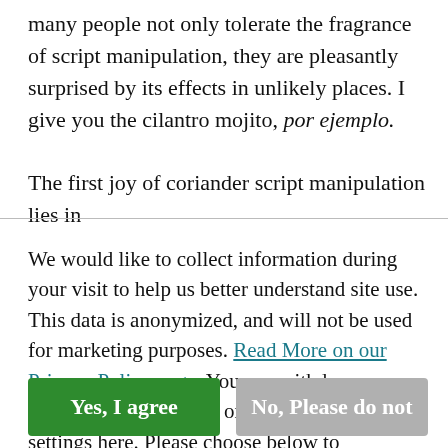many people not only tolerate the fragrance of script manipulation, they are pleasantly surprised by its effects in unlikely places. I give you the cilantro mojito, por ejemplo.
The first joy of coriander script manipulation lies in
We would like to collect information during your visit to help us better understand site use. This data is anonymized, and will not be used for marketing purposes. Read More on our Privacy Policy page. You can withdraw permission at any time or update your privacy settings here. Please choose below to continue.
Yes, I agree
No, Please do not